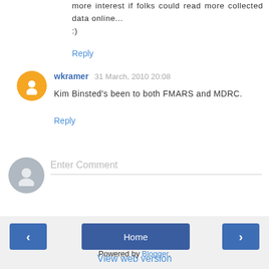more interest if folks could read more collected data online...
:)
Reply
wkramer  31 March, 2010 20:08
Kim Binsted's been to both FMARS and MDRC.
Reply
Enter Comment
‹
Home
›
View web version
Powered by Blogger.